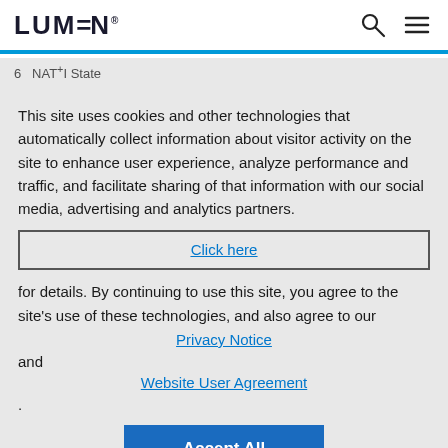LUMEN
NAT+I State
This site uses cookies and other technologies that automatically collect information about visitor activity on the site to enhance user experience, analyze performance and traffic, and facilitate sharing of that information with our social media, advertising and analytics partners.
Click here
for details. By continuing to use this site, you agree to the site's use of these technologies, and also agree to our
Privacy Notice
and
Website User Agreement
.
Accept All